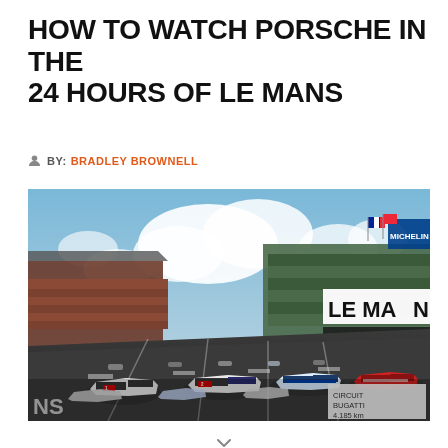HOW TO WATCH PORSCHE IN THE 24 HOURS OF LE MANS
BY: BRADLEY BROWNELL
[Figure (photo): Le Mans racing grid with multiple prototype race cars lined up on the start/finish straight at Circuit de la Sarthe. Grandstands and pit lane buildings visible including Le Mans signage and Michelin branding. Blue sky with white clouds. Circuit Bugatti 4.185 km sign visible in foreground right.]